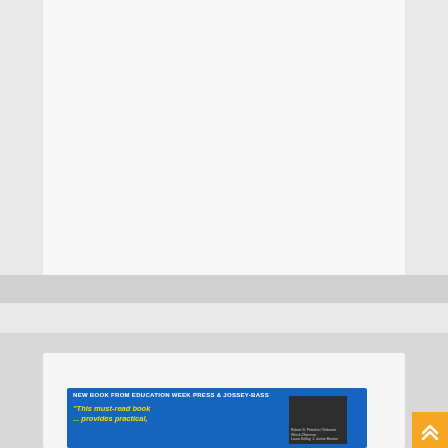[Figure (other): Top white card area - placeholder content region on light gray background]
[Figure (other): Gray horizontal banner strip below top card]
[Figure (other): Bottom section with book advertisement. Blue banner reads: NEW BOOK FROM EDUCATION WEEK PRESS & JOSSEY-BASS. Yellow italic text: "This must-read book ... provides practical," with a dark book cover mockup showing author names: Robert S. Peterkin, Deborah Wirick-Oberman, Laura Kelley, J. Jackie Boston. Orange scroll-to-top button with double chevron arrow in bottom right corner.]